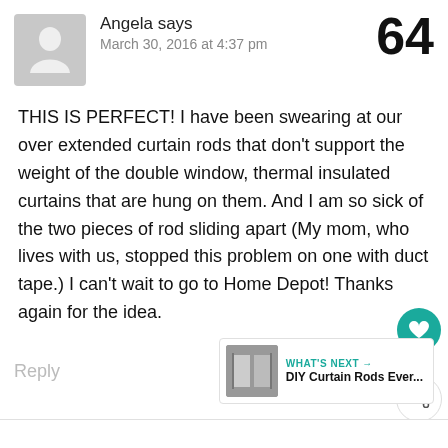[Figure (illustration): Grey avatar placeholder with silhouette of a person]
Angela says
March 30, 2016 at 4:37 pm
64
THIS IS PERFECT! I have been swearing at our over extended curtain rods that don't support the weight of the double window, thermal insulated curtains that are hung on them. And I am so sick of the two pieces of rod sliding apart (My mom, who lives with us, stopped this problem on one with duct tape.) I can't wait to go to Home Depot! Thanks again for the idea.
Reply
WHAT'S NEXT → DIY Curtain Rods Ever...